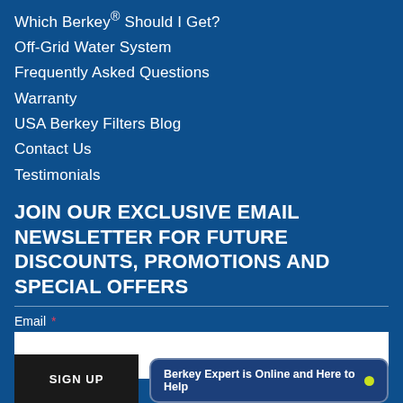Which Berkey® Should I Get?
Off-Grid Water System
Frequently Asked Questions
Warranty
USA Berkey Filters Blog
Contact Us
Testimonials
JOIN OUR EXCLUSIVE EMAIL NEWSLETTER FOR FUTURE DISCOUNTS, PROMOTIONS AND SPECIAL OFFERS
Email *
SIGN UP
Berkey Expert is Online and Here to Help